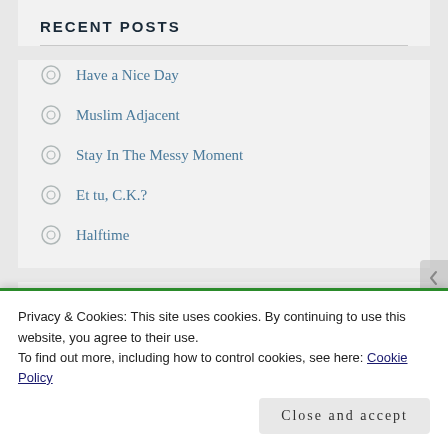RECENT POSTS
Have a Nice Day
Muslim Adjacent
Stay In The Messy Moment
Et tu, C.K.?
Halftime
CATEGORIES
Privacy & Cookies: This site uses cookies. By continuing to use this website, you agree to their use.
To find out more, including how to control cookies, see here: Cookie Policy
Close and accept